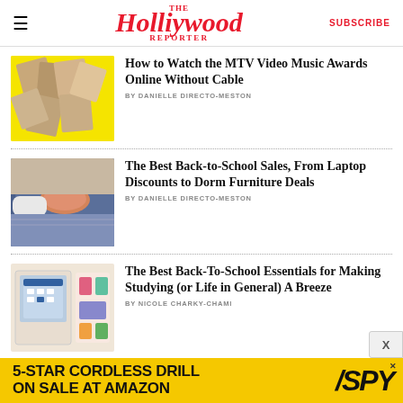The Hollywood Reporter | SUBSCRIBE
[Figure (screenshot): MTV VMA collage photo thumbnail on yellow background]
How to Watch the MTV Video Music Awards Online Without Cable
BY DANIELLE DIRECTO-MESTON
[Figure (photo): Bed with orange pillow and blue/purple bedding, dorm room setting]
The Best Back-to-School Sales, From Laptop Discounts to Dorm Furniture Deals
BY DANIELLE DIRECTO-MESTON
[Figure (photo): Laptop and school supplies on pink/cream background]
The Best Back-To-School Essentials for Making Studying (or Life in General) A Breeze
BY NICOLE CHARKY-CHAMI
[Figure (infographic): Advertisement banner: 5-STAR CORDLESS DRILL ON SALE AT AMAZON / SPY logo]